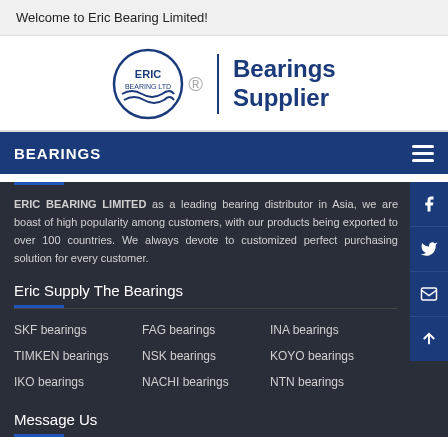Welcome to Eric Bearing Limited!
[Figure (logo): Eric Bearing Ltd logo with circular badge and 'Bearings Supplier' text]
BEARINGS
ERIC BEARING LIMITED as a leading bearing distributor in Asia, we are boast of high popularity among customers, with our products being exported to over 100 countries. We always devote to customized perfect purchasing solution for every customer.
Eric Supply The Bearings
SKF bearings
FAG bearings
INA bearings
TIMKEN bearings
NSK bearings
KOYO bearings
IKO bearings
NACHI bearings
NTN bearings
Message Us